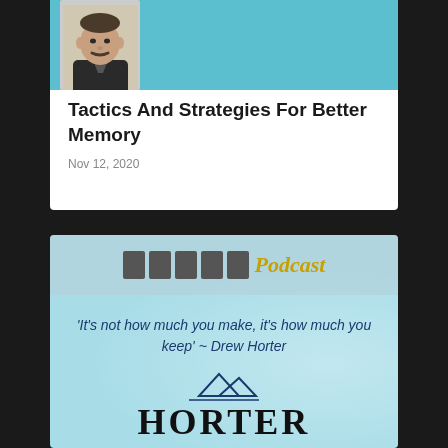[Figure (photo): Person's headshot photo on teal/blue background thumbnail]
Tactics And Strategies For Better Memory
Nov 12, 2020
[Figure (infographic): Horter Podcast branded image with quote: 'It's not how much you make, it's how much you keep' ~ Drew Horter, and Horter logo with mountain graphic on light blue background]